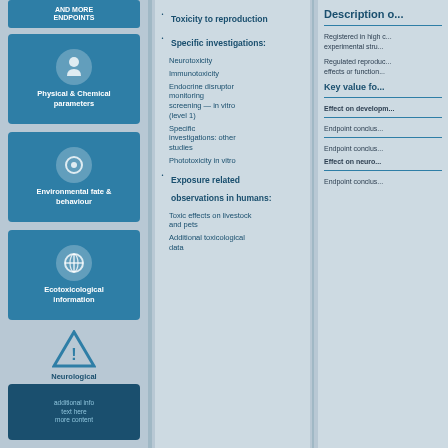Physical & Chemical parameters
Environmental fate & behaviour
Ecotoxicological information
Neurological information
Toxicity to reproduction
Specific investigations
Neurotoxicity
Immunotoxicity
Endocrine disruptor monitoring screening — in vitro (level 1)
Specific investigations: other studies
Phototoxicity in vitro
Exposure related observations in humans
Toxic effects on livestock and pets
Additional toxicological data
Description o...
Registered in high c... experimental stru...
Regulated reproduc... effects or function...
Key value fo...
Effect on developm...
Endpoint conclus...
Endpoint conclus...
Effect on neuro...
Endpoint conclus...